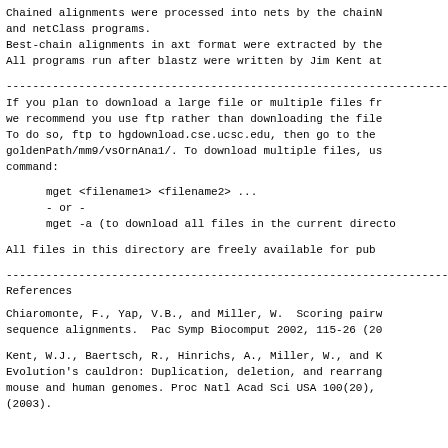Chained alignments were processed into nets by the chainN
and netClass programs.
Best-chain alignments in axt format were extracted by the
All programs run after blastz were written by Jim Kent at
------------------------------------------------------------------------
If you plan to download a large file or multiple files fr
we recommend you use ftp rather than downloading the file
To do so, ftp to hgdownload.cse.ucsc.edu, then go to the
goldenPath/mm9/vsOrnAna1/. To download multiple files, us
command:
mget <filename1> <filename2> ...
    - or -
    mget -a (to download all files in the current directo
All files in this directory are freely available for pub
------------------------------------------------------------------------
References
Chiaromonte, F., Yap, V.B., and Miller, W.  Scoring pairw
sequence alignments.  Pac Symp Biocomput 2002, 115-26 (20
Kent, W.J., Baertsch, R., Hinrichs, A., Miller, W., and K
Evolution's cauldron: Duplication, deletion, and rearrang
mouse and human genomes. Proc Natl Acad Sci USA 100(20),
(2003).